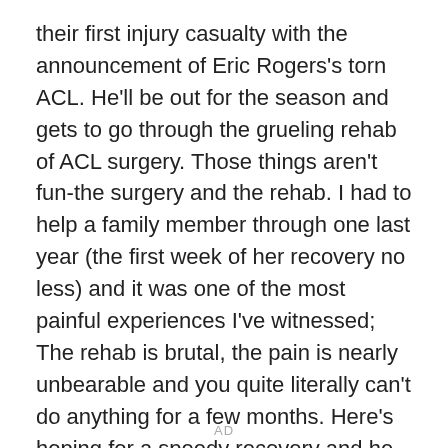their first injury casualty with the announcement of Eric Rogers's torn ACL. He'll be out for the season and gets to go through the grueling rehab of ACL surgery. Those things aren't fun-the surgery and the rehab. I had to help a family member through one last year (the first week of her recovery no less) and it was one of the most painful experiences I've witnessed; The rehab is brutal, the pain is nearly unbearable and you quite literally can't do anything for a few months. Here's hoping for a speedy recovery and he makes it back to the field next season.
AD